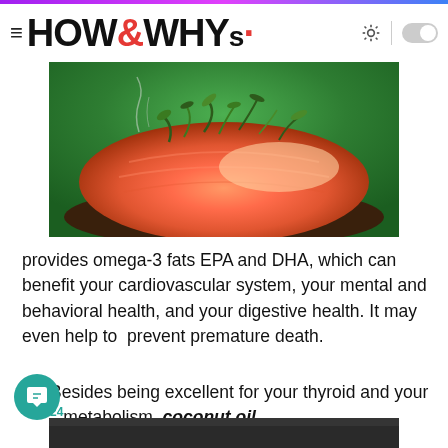HOW&WHYs
[Figure (photo): A salmon fillet with herbs on top, photographed close-up with steam rising, on a dark surface with green background.]
provides omega-3 fats EPA and DHA, which can benefit your cardiovascular system, your mental and behavioral health, and your digestive health. It may even help to  prevent premature death.
12. Besides being excellent for your thyroid and your metabolism, coconut oil
[Figure (photo): Dark image, partially visible, appears to be a coconut oil related photograph.]